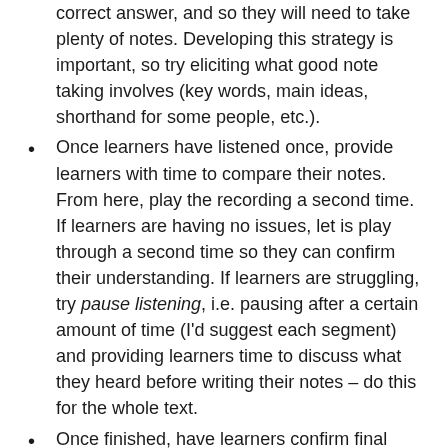correct answer, and so they will need to take plenty of notes. Developing this strategy is important, so try eliciting what good note taking involves (key words, main ideas, shorthand for some people, etc.).
Once learners have listened once, provide learners with time to compare their notes. From here, play the recording a second time. If learners are having no issues, let is play through a second time so they can confirm their understanding. If learners are struggling, try pause listening, i.e. pausing after a certain amount of time (I'd suggest each segment) and providing learners time to discuss what they heard before writing their notes – do this for the whole text.
Once finished, have learners confirm final details together, then ask for answers, clarifying points where necessary. Ask learners to reflect on their